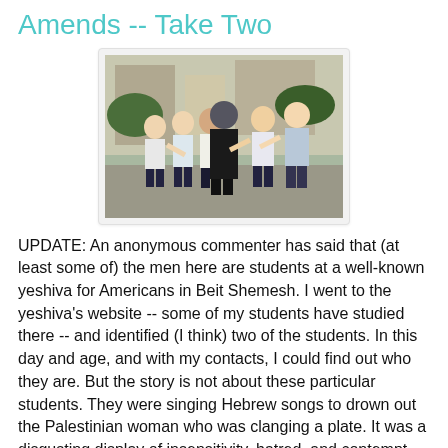Amends -- Take Two
[Figure (photo): Group of young men confronting a woman in a headscarf outdoors on a street, appearing to shout at her.]
UPDATE: An anonymous commenter has said that (at least some of) the men here are students at a well-known yeshiva for Americans in Beit Shemesh. I went to the yeshiva's website -- some of my students have studied there -- and identified (I think) two of the students. In this day and age, and with my contacts, I could find out who they are. But the story is not about these particular students. They were singing Hebrew songs to drown out the Palestinian woman who was clanging a plate. It was a disgusting display of insensitivity, hatred, and contempt for a woman thrown out of